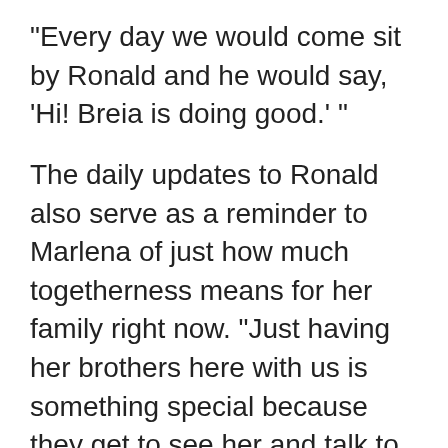“Every day we would come sit by Ronald and he would say, ‘Hi! Breia is doing good.’ ”
The daily updates to Ronald also serve as a reminder to Marlena of just how much togetherness means for her family right now. “Just having her brothers here with us is something special because they get to see her and talk to her, just being able to be beside her bedside with us,” Marlena said. “I’m glad I